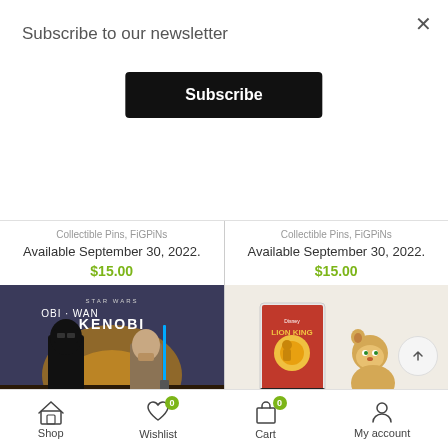Subscribe to our newsletter
Subscribe
Collectible Pins, FiGPiNs
Available September 30, 2022.
$15.00
[Figure (photo): Obi-Wan Kenobi Star Wars product image showing Darth Vader and Obi-Wan Kenobi]
Collectible Pins, FiGPiNs
Available September 30, 2022.
$15.00
[Figure (photo): Lion King FiGPiN product image showing Simba and Nala characters with FiGPiN packaging]
Shop   Wishlist 0   Cart 0   My account